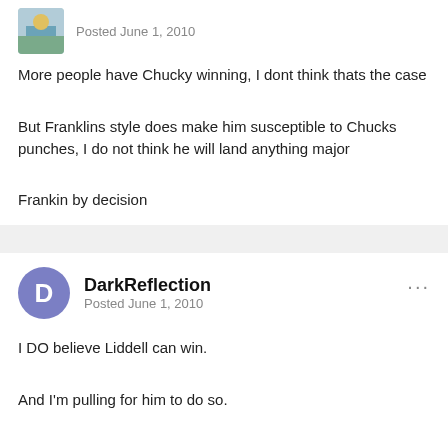[Figure (illustration): User avatar image (partial, top of page) - small square avatar with nature/landscape image]
Posted June 1, 2010
More people have Chucky winning, I dont think thats the case
But Franklins style does make him susceptible to Chucks punches, I do not think he will land anything major
Frankin by decision
[Figure (illustration): User avatar circle with letter D, purple/indigo background]
DarkReflection
Posted June 1, 2010
I DO believe Liddell can win.
And I'm pulling for him to do so.